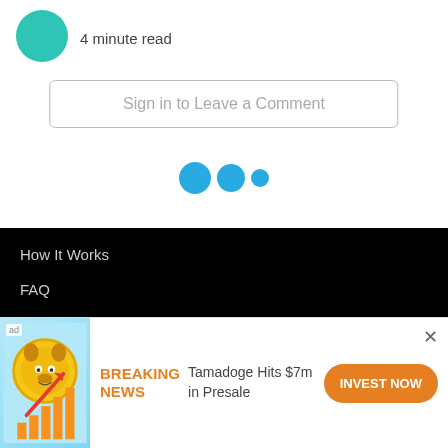4 minute read
Sign in to Leave a Comment
[Figure (other): Three blue dots (loading/pagination indicator)]
How It Works
FAQ
Ambassador Program
[Figure (other): Advertisement banner: Tamadoge crypto coin with bar chart and arrow graphic. Text: BREAKING NEWS - Tamadoge Hits $7m in Presale. Button: INVEST NOW]